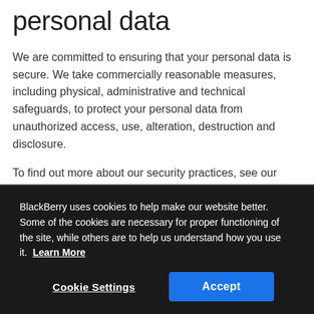personal data
We are committed to ensuring that your personal data is secure. We take commercially reasonable measures, including physical, administrative and technical safeguards, to protect your personal data from unauthorized access, use, alteration, destruction and disclosure.
To find out more about our security practices, see our Privacy Notice Frequently Asked Questions.
BlackBerry uses cookies to help make our website better. Some of the cookies are necessary for proper functioning of the site, while others are to help us understand how you use it. Learn More
Cookie Settings
Accept